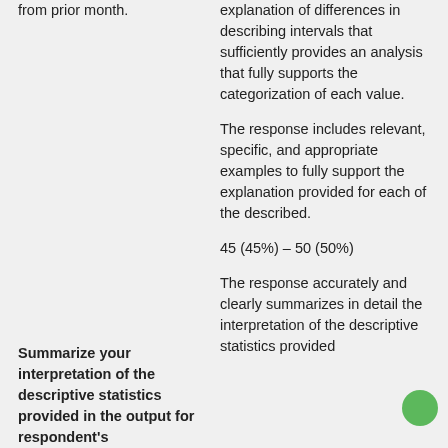from prior month.
explanation of differences in describing intervals that sufficiently provides an analysis that fully supports the categorization of each value.
The response includes relevant, specific, and appropriate examples to fully support the explanation provided for each of the described.
45 (45%) – 50 (50%)
The response accurately and clearly summarizes in detail the interpretation of the descriptive statistics provided
Summarize your interpretation of the descriptive statistics provided in the output for respondent's